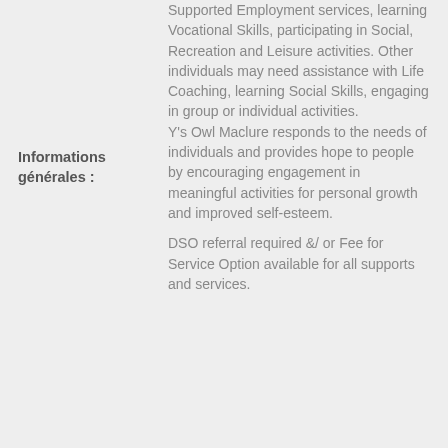Informations générales :
Supported Employment services, learning Vocational Skills, participating in Social, Recreation and Leisure activities. Other individuals may need assistance with Life Coaching, learning Social Skills, engaging in group or individual activities. Y's Owl Maclure responds to the needs of individuals and provides hope to people by encouraging engagement in meaningful activities for personal growth and improved self-esteem.
DSO referral required &/ or Fee for Service Option available for all supports and services.